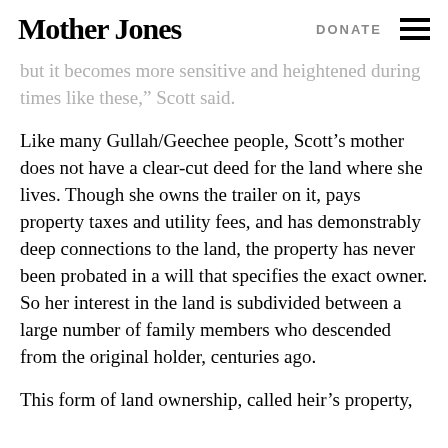Mother Jones | DONATE
but it becomes more sensitive and heightened during times like these,” Scott said.
Like many Gullah/Geechee people, Scott’s mother does not have a clear-cut deed for the land where she lives. Though she owns the trailer on it, pays property taxes and utility fees, and has demonstrably deep connections to the land, the property has never been probated in a will that specifies the exact owner. So her interest in the land is subdivided between a large number of family members who descended from the original holder, centuries ago.
This form of land ownership, called heir’s property,